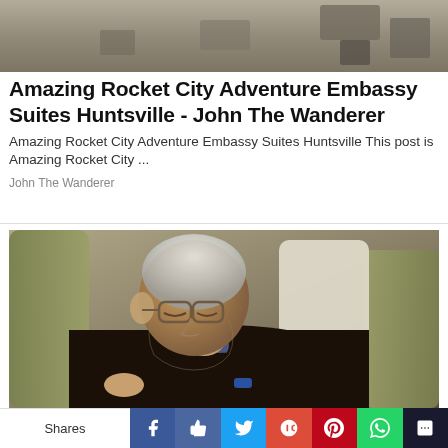[Figure (photo): Top banner photo showing outdoor patio/terrace area with furniture, viewed from above]
Amazing Rocket City Adventure Embassy Suites Huntsville - John The Wanderer
Amazing Rocket City Adventure Embassy Suites Huntsville This post is Amazing Rocket City ...
John The Wanderer
[Figure (photo): Photo of an elderly man with white hair and glasses sleeping in an olive green wingback chair, wearing a dark brown cable-knit sweater with arms crossed]
Shares | Facebook | Like | Twitter | Google+ | Pinterest | WhatsApp | Other